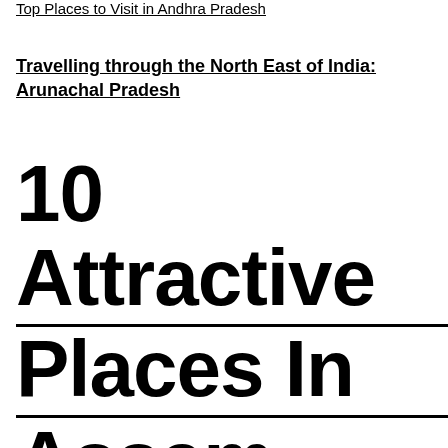Top Places to Visit in Andhra Pradesh
Travelling through the North East of India: Arunachal Pradesh
10 Attractive Places In Assam That Will Keep